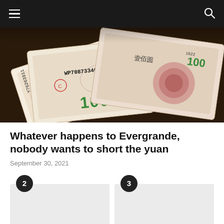Navigation bar with menu and search icons
[Figure (photo): Close-up photo of Chinese yuan banknotes showing serial numbers Y76263911 and WP70873346, denomination 100, with decorative patterns and Chinese characters]
Whatever happens to Evergrande, nobody wants to short the yuan
September 30, 2021
[Figure (other): Card numbered 2 with grey placeholder background]
[Figure (other): Card numbered 3 with grey placeholder background]